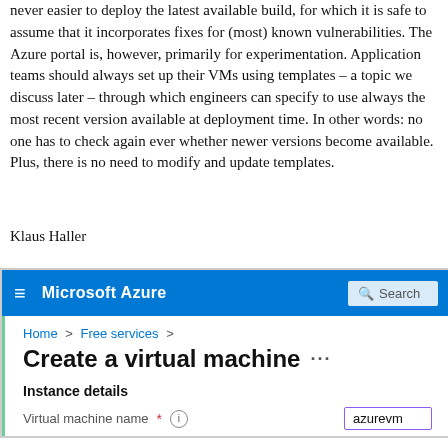never easier to deploy the latest available build, for which it is safe to assume that it incorporates fixes for (most) known vulnerabilities. The Azure portal is, however, primarily for experimentation. Application teams should always set up their VMs using templates – a topic we discuss later – through which engineers can specify to use always the most recent version available at deployment time. In other words: no one has to check again ever whether newer versions become available. Plus, there is no need to modify and update templates.
Klaus Haller
[Figure (screenshot): Microsoft Azure portal screenshot showing 'Create a virtual machine' page with breadcrumb 'Home > Free services >' and Instance details section with Virtual machine name field showing 'azurevm']